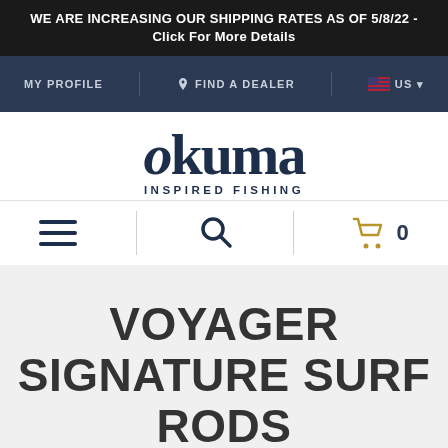WE ARE INCREASING OUR SHIPPING RATES AS OF 5/8/22 - Click For More Details
MY PROFILE | FIND A DEALER | US
[Figure (logo): Okuma Inspired Fishing logo in dark navy blue]
[Figure (infographic): Navigation toolbar with hamburger menu, search icon, and shopping cart showing 0 items]
VOYAGER SIGNATURE SURF RODS
[Figure (photo): Partial view of a fishing rod tip in the bottom right corner]